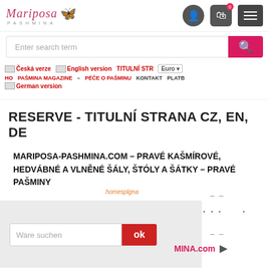[Figure (logo): Mariposa Pashmina logo with butterfly and italic text]
[Figure (screenshot): Header icons: user account, shopping bag with badge 0, hamburger menu]
[Figure (screenshot): Search bar with placeholder 'Enter search term' and pink search button]
[Figure (screenshot): Navigation row with language flags (Česká verze, English version, German version), nav links (TITULNÍ STR, PAŠMINA MAGAZINE, PÉČE O PAŠMINU, KONTAKT, PLATB...), and Euro currency selector]
RESERVE - TITULNÍ STRANA CZ, EN, DE
MARIPOSA-PASHMINA.COM – PRAVÉ KAŠMÍROVÉ, HEDVÁBNÉ A VLNĚNÉ ŠÁLY, ŠTÓLY A ŠÁTKY – PRAVÉ PAŠMINY
[Figure (screenshot): German version search modal overlay with 'Ware suchen' input and red ok button, plus 'homespage' label and MINA.com text with arrow]